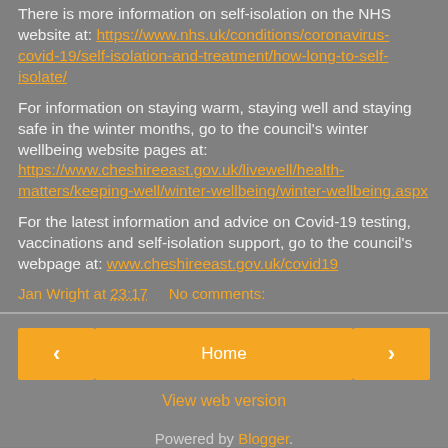There is more information on self-isolation on the NHS website at: https://www.nhs.uk/conditions/coronavirus-covid-19/self-isolation-and-treatment/how-long-to-self-isolate/
For information on staying warm, staying well and staying safe in the winter months, go to the council's winter wellbeing website pages at: https://www.cheshireeast.gov.uk/livewell/health-matters/keeping-well/winter-wellbeing/winter-wellbeing.aspx
For the latest information and advice on Covid-19 testing, vaccinations and self-isolation support, go to the council's webpage at: www.cheshireeast.gov.uk/covid19
Jan Wright at 23:17    No comments:
Home
View web version
Powered by Blogger.